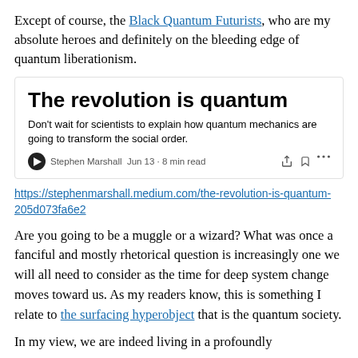Except of course, the Black Quantum Futurists, who are my absolute heroes and definitely on the bleeding edge of quantum liberationism.
[Figure (screenshot): Card preview of a Medium article titled 'The revolution is quantum' with subtitle 'Don't wait for scientists to explain how quantum mechanics are going to transform the social order.' by Stephen Marshall, Jun 13, 8 min read.]
https://stephenmarshall.medium.com/the-revolution-is-quantum-205d073fa6e2
Are you going to be a muggle or a wizard? What was once a fanciful and mostly rhetorical question is increasingly one we will all need to consider as the time for deep system change moves toward us. As my readers know, this is something I relate to the surfacing hyperobject that is the quantum society.
In my view, we are indeed living in a profoundly